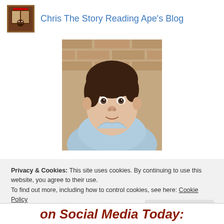Chris The Story Reading Ape's Blog
[Figure (photo): Headshot photo of a young man with dark hair wearing a light blue shirt, photographed against a brick wall background.]
Privacy & Cookies: This site uses cookies. By continuing to use this website, you agree to their use.
To find out more, including how to control cookies, see here: Cookie Policy
Close and accept
on Social Media Today: